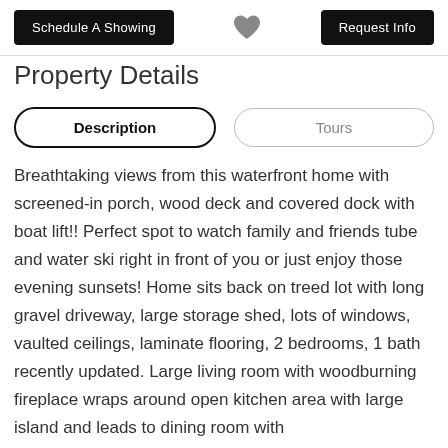Schedule A Showing | [heart] | Request Info
Property Details
Description | Tours
Breathtaking views from this waterfront home with screened-in porch, wood deck and covered dock with boat lift!! Perfect spot to watch family and friends tube and water ski right in front of you or just enjoy those evening sunsets! Home sits back on treed lot with long gravel driveway, large storage shed, lots of windows, vaulted ceilings, laminate flooring, 2 bedrooms, 1 bath recently updated. Large living room with woodburning fireplace wraps around open kitchen area with large island and leads to dining room with